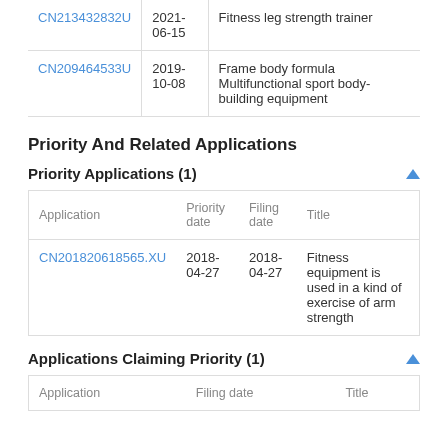|  |  |  |
| --- | --- | --- |
| CN213432832U | 2021-06-15 | Fitness leg strength trainer |
| CN209464533U | 2019-10-08 | Frame body formula Multifunctional sport body-building equipment |
Priority And Related Applications
Priority Applications (1)
| Application | Priority date | Filing date | Title |
| --- | --- | --- | --- |
| CN201820618565.XU | 2018-04-27 | 2018-04-27 | Fitness equipment is used in a kind of exercise of arm strength |
Applications Claiming Priority (1)
| Application | Filing date | Title |
| --- | --- | --- |